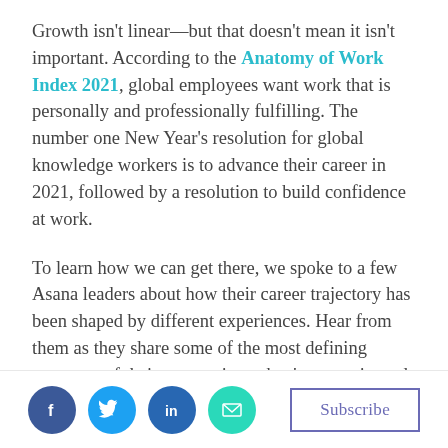Growth isn't linear—but that doesn't mean it isn't important. According to the Anatomy of Work Index 2021, global employees want work that is personally and professionally fulfilling. The number one New Year's resolution for global knowledge workers is to advance their career in 2021, followed by a resolution to build confidence at work.
To learn how we can get there, we spoke to a few Asana leaders about how their career trajectory has been shaped by different experiences. Hear from them as they share some of the most defining moments of their career, times they've experienced personal and professional growth, and taken their